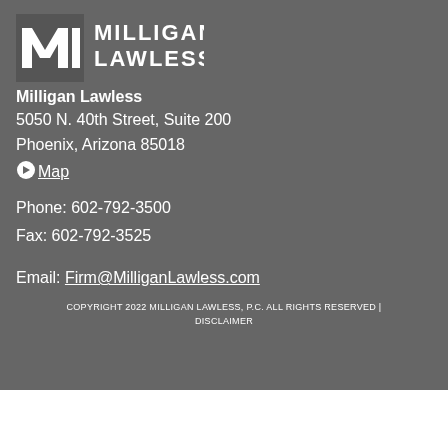[Figure (logo): Milligan Lawless logo with MLI monogram and firm name text]
Milligan Lawless
5050 N. 40th Street, Suite 200
Phoenix, Arizona 85018
Map
Phone: 602-792-3500
Fax: 602-792-3525
Email: Firm@MilliganLawless.com
COPYRIGHT 2022 MILLIGAN LAWLESS, P.C. ALL RIGHTS RESERVED | DISCLAIMER